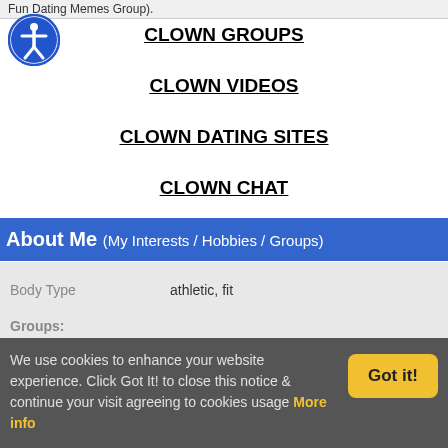Fun Dating Memes Group).
CLOWN GROUPS
CLOWN VIDEOS
CLOWN DATING SITES
CLOWN CHAT
About Me (My Interests / Hobbies / Groups)
| Body Type | athletic, fit |
| Groups: |  |
We use cookies to enhance your website experience. Click Got It! to close this notice & continue your visit agreeing to cookies usage  More info